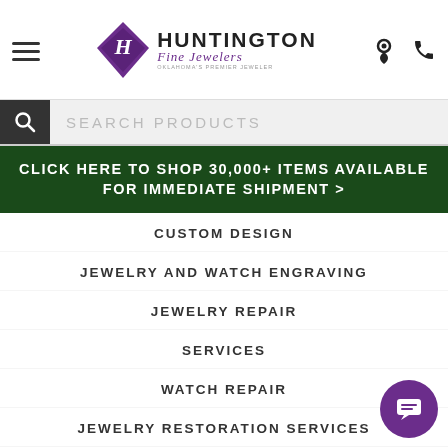Huntington Fine Jewelers — Oklahoma's Premier Jeweler
SEARCH PRODUCTS
CLICK HERE TO SHOP 30,000+ ITEMS AVAILABLE FOR IMMEDIATE SHIPMENT >
CUSTOM DESIGN
JEWELRY AND WATCH ENGRAVING
JEWELRY REPAIR
SERVICES
WATCH REPAIR
JEWELRY RESTORATION SERVICES
ALL EVENTS
SUMMER BRIDAL EVENT
JEWELRY
RINGS